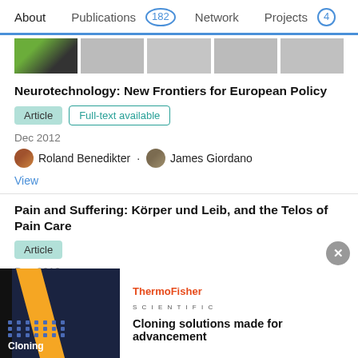About   Publications 182   Network   Projects 4
[Figure (screenshot): Thumbnail images row showing partial publication covers]
Neurotechnology: New Frontiers for European Policy
Article   Full-text available
Dec 2012
Roland Benedikter · James Giordano
View
Pain and Suffering: Körper und Leib, and the Telos of Pain Care
Article
Dec 2012
Advertisement
[Figure (screenshot): ThermoFisher Scientific advertisement banner: Cloning solutions made for advancement]